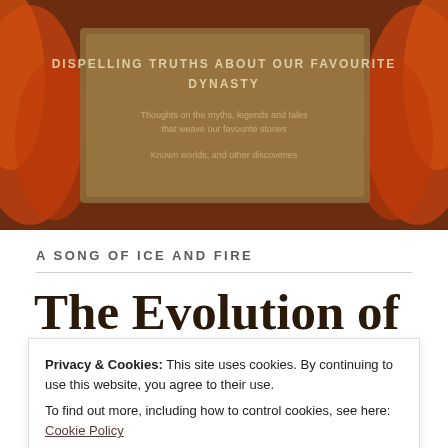[Figure (photo): Decorative header image with dark reddish-brown medieval/fantasy style background featuring text overlay reading 'DISPELLING TRUTHS ABOUT OUR FAVOURITE DYNASTY' with additional smaller text lines on a stone-like plaque]
A SONG OF ICE AND FIRE
The Evolution of Arthurian and Medieval
Privacy & Cookies: This site uses cookies. By continuing to use this website, you agree to their use.
To find out more, including how to control cookies, see here: Cookie Policy
Close and accept